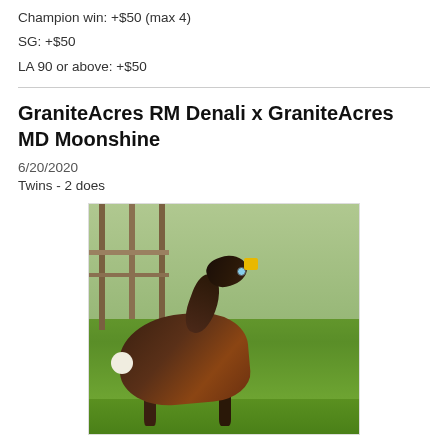Champion win: +$50 (max 4)
SG: +$50
LA 90 or above: +$50
GraniteAcres RM Denali x GraniteAcres MD Moonshine
6/20/2020
Twins - 2 does
[Figure (photo): A young Nigerian Dwarf goat kid with dark brown and black coloring, white tail, and a yellow ear tag, standing on green grass with a fence and trees in the background.]